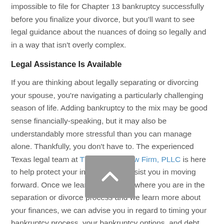impossible to file for Chapter 13 bankruptcy successfully before you finalize your divorce, but you'll want to see legal guidance about the nuances of doing so legally and in a way that isn't overly complex.
Legal Assistance Is Available
If you are thinking about legally separating or divorcing your spouse, you're navigating a particularly challenging season of life. Adding bankruptcy to the mix may be good sense financially-speaking, but it may also be understandably more stressful than you can manage alone. Thankfully, you don't have to. The experienced Texas legal team at The Allmand Law Firm, PLLC is here to help protect your interests and assist you in moving forward. Once we learn more about where you are in the separation or divorce process and we learn more about your finances, we can advise you in regard to timing your bankruptcy process, your bankruptcy options, and debt